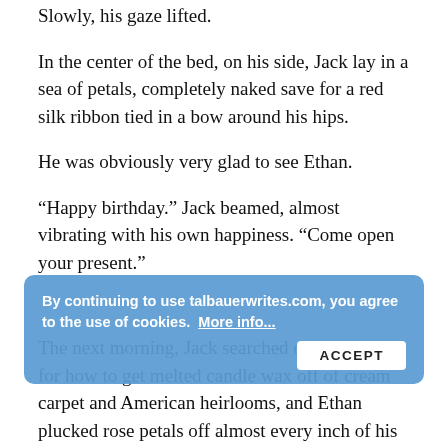Slowly, his gaze lifted.
In the center of the bed, on his side, Jack lay in a sea of petals, completely naked save for a red silk ribbon tied in a bow around his hips.
He was obviously very glad to see Ethan.
“Happy birthday.” Jack beamed, almost vibrating with his own happiness. “Come open your present.”
* * *
The next morning, Jack searched on his phone for how to get melted candle wax off of cream carpet and American heirlooms, and Ethan plucked rose petals off almost every inch of his skin.
Jack insisted on making breakfast for Ethan, a reversal of their roles. Jack wasn’t incompetent when it came to cooking—he’d conquered the art and science of it—but baking and creating complex meals were his forte, with an easy default to ordering out. Ethan showed him a thing or two while they dated, mixing